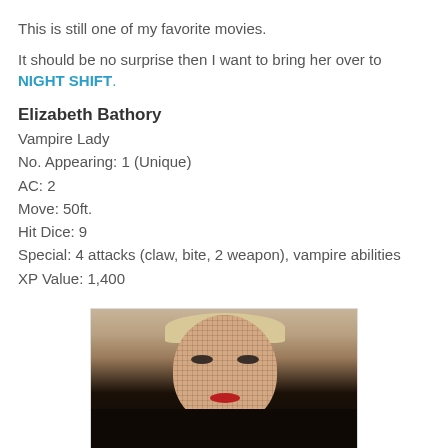This is still one of my favorite movies.
It should be no surprise then I want to bring her over to NIGHT SHIFT.
Elizabeth Bathory
Vampire Lady
No. Appearing: 1 (Unique)
AC: 2
Move: 50ft.
Hit Dice: 9
Special: 4 attacks (claw, bite, 2 weapon), vampire abilities
XP Value: 1,400
[Figure (photo): Close-up photograph of an older blonde woman wearing a net veil and dark fur, with red lipstick, gazing toward the camera.]